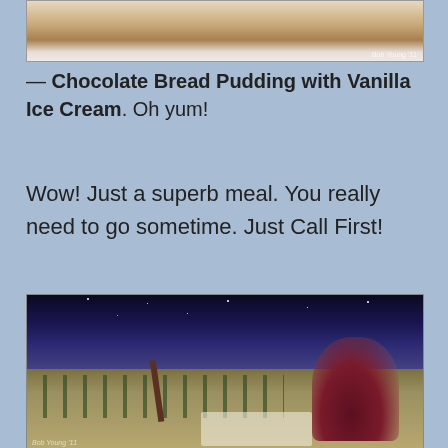[Figure (photo): Photo of a dessert dish, likely chocolate bread pudding with vanilla ice cream on a white plate]
— Chocolate Bread Pudding with Vanilla Ice Cream. Oh yum!
Wow! Just a superb meal. You really need to go sometime. Just Call First!
[Figure (photo): Night photo of a vineyard with a glass of red wine in the foreground and starry sky in the background]